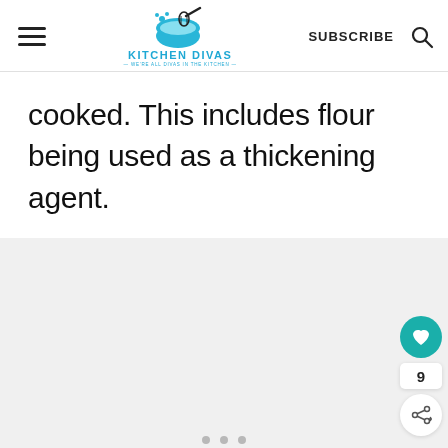Kitchen Divas — WE'RE ALL DIVAS IN THE KITCHEN — | SUBSCRIBE
cooked. This includes flour being used as a thickening agent.
[Figure (other): Gray placeholder content area with three small dots at bottom center, and social interaction buttons on the right side: a teal heart button, a count badge showing 9, and a share button.]